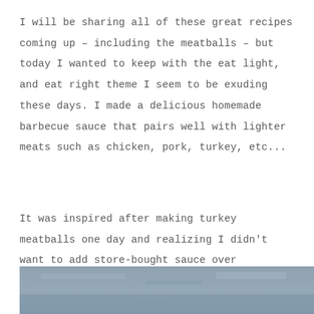I will be sharing all of these great recipes coming up – including the meatballs – but today I wanted to keep with the eat light, and eat right theme I seem to be exuding these days. I made a delicious homemade barbecue sauce that pairs well with lighter meats such as chicken, pork, turkey, etc...
It was inspired after making turkey meatballs one day and realizing I didn't want to add store-bought sauce over something so good (and healthy).
[Figure (photo): Partial view of a blue-grey textured surface, likely a countertop or background, cropped at the bottom of the page.]